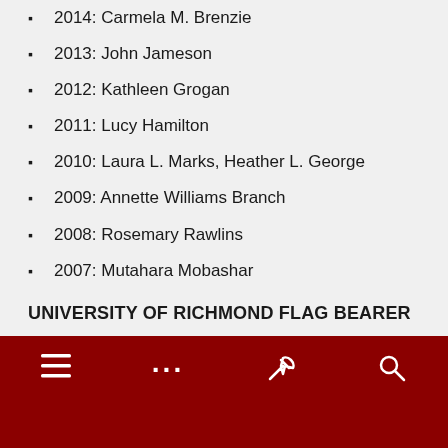2014: Carmela M. Brenzie
2013: John Jameson
2012: Kathleen Grogan
2011: Lucy Hamilton
2010: Laura L. Marks, Heather L. George
2009: Annette Williams Branch
2008: Rosemary Rawlins
2007: Mutahara Mobashar
UNIVERSITY OF RICHMOND FLAG BEARER
2022: Tonya Woodson
≡  ...  🔧  🔍